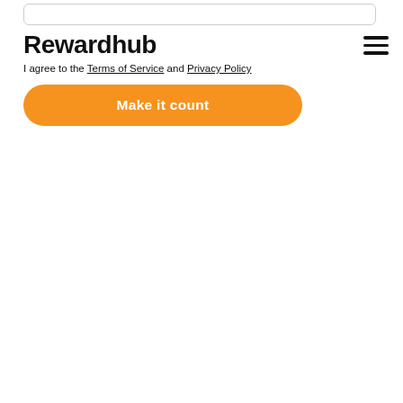[Figure (screenshot): Input/search bar at the top of the page]
Rewardhub
I agree to the Terms of Service and Privacy Policy
[Figure (other): Hamburger menu icon (three horizontal lines) in the top right corner]
[Figure (other): Orange rounded button labeled 'Make it count']